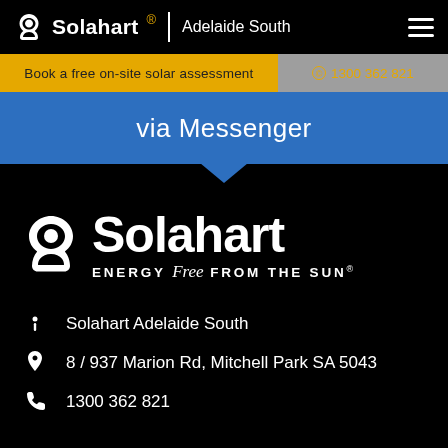Solahart | Adelaide South
Book a free on-site solar assessment
1300 362 821
via Messenger
[Figure (logo): Solahart logo — large white logo with sun/water drop icon and text 'Solahart' with tagline 'ENERGY Free FROM THE SUN']
Solahart Adelaide South
8 / 937 Marion Rd, Mitchell Park SA 5043
1300 362 821